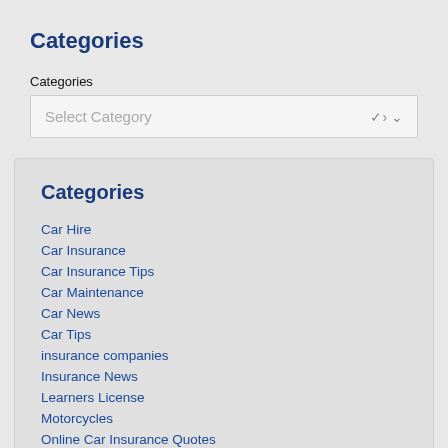Categories
Categories
[Figure (screenshot): Dropdown selector with placeholder text 'Select Category' and a chevron arrow on the right]
Categories
Car Hire
Car Insurance
Car Insurance Tips
Car Maintenance
Car News
Car Tips
insurance companies
Insurance News
Learners License
Motorcycles
Online Car Insurance Quotes